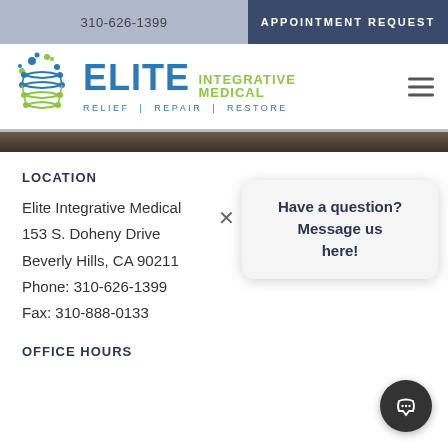310-626-1399 | APPOINTMENT REQUEST
[Figure (logo): Elite Integrative Medical logo with DNA helix graphic, text ELITE INTEGRATIVE MEDICAL, tagline RELIEF | REPAIR | RESTORE]
LOCATION
Elite Integrative Medical
153 S. Doheny Drive
Beverly Hills, CA 90211
Phone: 310-626-1399
Fax: 310-888-0133
Have a question? Message us here!
OFFICE HOURS